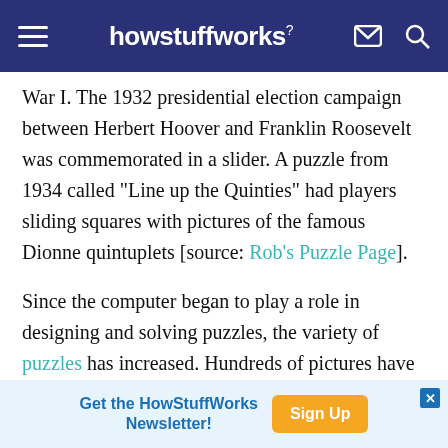howstuffworks
War I. The 1932 presidential election campaign between Herbert Hoover and Franklin Roosevelt was commemorated in a slider. A puzzle from 1934 called "Line up the Quinties" had players sliding squares with pictures of the famous Dionne quintuplets [source: Rob's Puzzle Page].
Since the computer began to play a role in designing and solving puzzles, the variety of puzzles has increased. Hundreds of pictures have been transformed into sliders, and increasingly more
[Figure (infographic): Advertisement bar: 'Get the HowStuffWorks Newsletter!' with a 'Sign Up' button in orange.]